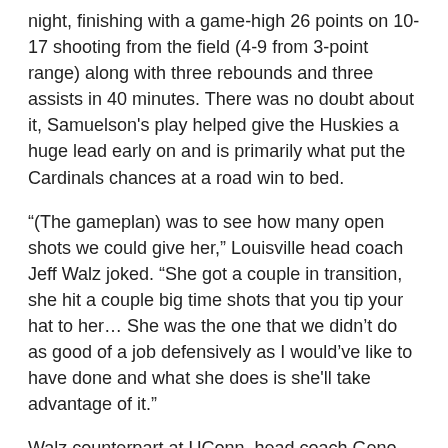night, finishing with a game-high 26 points on 10-17 shooting from the field (4-9 from 3-point range) along with three rebounds and three assists in 40 minutes. There was no doubt about it, Samuelson's play helped give the Huskies a huge lead early on and is primarily what put the Cardinals chances at a road win to bed.
“(The gameplan) was to see how many open shots we could give her,” Louisville head coach Jeff Walz joked. “She got a couple in transition, she hit a couple big time shots that you tip your hat to her… She was the one that we didn’t do as good of a job defensively as I would’ve like to have done and what she does is she'll take advantage of it.”
Walz counterpart at UConn, head coach Geno Auriemma, said Samuelson has just looked locked in for the last several days in the build up to the game.